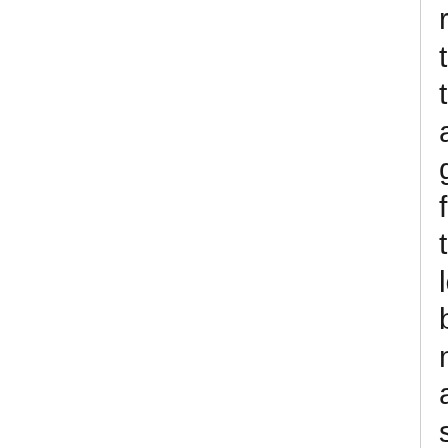resistances, and senses. If the form you choose grants these benefits, or a greater ability of the same type, you gain the listed benefit. If the form grants a lesser ability of the same type, you gain the lesser ability instead. Your base speed changes to match that of the form you assume. If the form grants a swim or burrow speed, you maintain the ability to breathe if you are swimming or burrowing. The DC for any of these